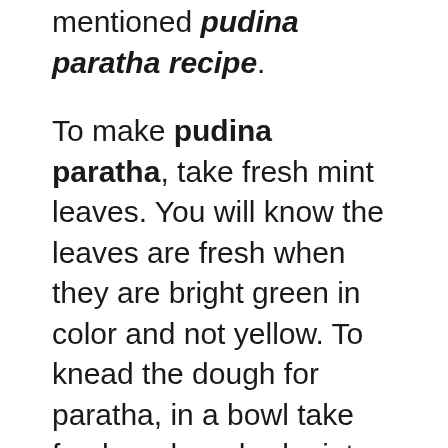mentioned pudina paratha recipe.
To make pudina paratha, take fresh mint leaves. You will know the leaves are fresh when they are bright green in color and not yellow. To knead the dough for paratha, in a bowl take fresh and washed mint leaves, pudina enhances the flavour and aroma of the Mint Paratha but if you do not have fresh mint leaves then you can make use of dried mint leaves. Add whole wheat flour and oil. Addition of oil helps in making the paratha softer. Further, add the ajwain. Crush them lightly between your palms before adding to get the most from it. Next, add red chilli powder. Add warm water and knead a soft dough. All the ingredients...